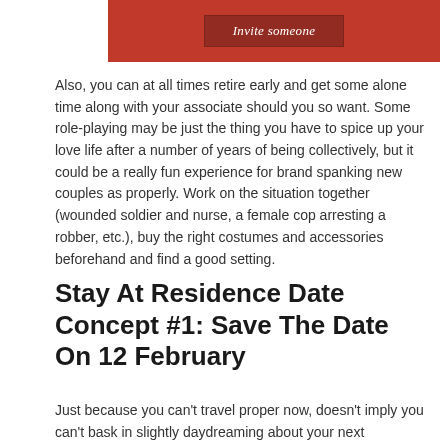[Figure (other): Red banner with 'Invite someone' button]
Also, you can at all times retire early and get some alone time along with your associate should you so want. Some role-playing may be just the thing you have to spice up your love life after a number of years of being collectively, but it could be a really fun experience for brand spanking new couples as properly. Work on the situation together (wounded soldier and nurse, a female cop arresting a robber, etc.), buy the right costumes and accessories beforehand and find a good setting.
Stay At Residence Date Concept #1: Save The Date On 12 February
Just because you can't travel proper now, doesn't imply you can't bask in slightly daydreaming about your next